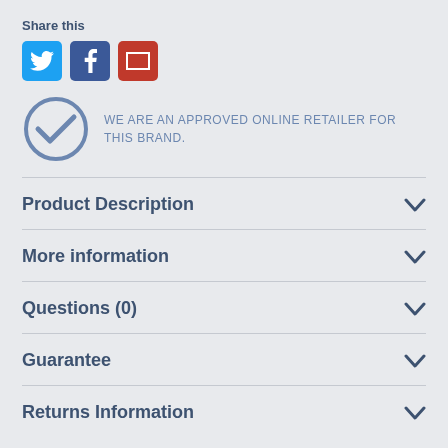Share this
[Figure (infographic): Social share buttons: Twitter (blue bird icon), Facebook (blue F icon), Email (red envelope icon)]
[Figure (infographic): Blue checkmark circle icon with text: WE ARE AN APPROVED ONLINE RETAILER FOR THIS BRAND.]
Product Description
More information
Questions (0)
Guarantee
Returns Information